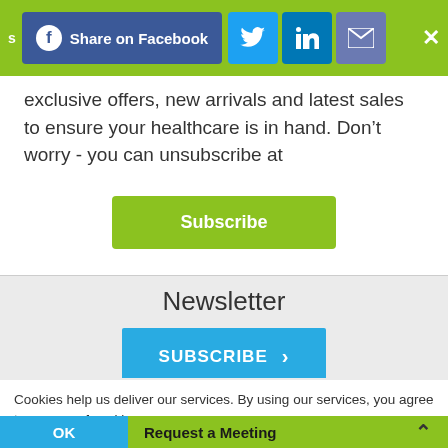[Figure (screenshot): Social sharing toolbar with Facebook Share button, Twitter, LinkedIn, Email icons, and close X button on olive/lime green background]
exclusive offers, new arrivals and latest sales to ensure your healthcare is in hand. Don’t worry - you can unsubscribe at
[Figure (screenshot): Green Subscribe button]
Newsletter
[Figure (screenshot): Blue SUBSCRIBE button with right arrow]
[Figure (screenshot): Payment method logos strip including Mastercard, Visa, and other payment icons]
Cookies help us deliver our services. By using our services, you agree to our use of cookies.
[Figure (screenshot): OK button (blue) and Request a Meeting bar (green with chevron up)]